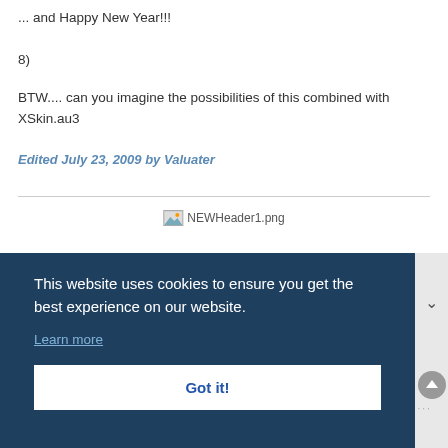... and Happy New Year!!!
8)
BTW.... can you imagine the possibilities of this combined with XSkin.au3
Edited July 23, 2009 by Valuater
[Figure (illustration): Broken image placeholder labeled NEWHeader1.png]
This website uses cookies to ensure you get the best experience on our website.
Learn more
Got it!